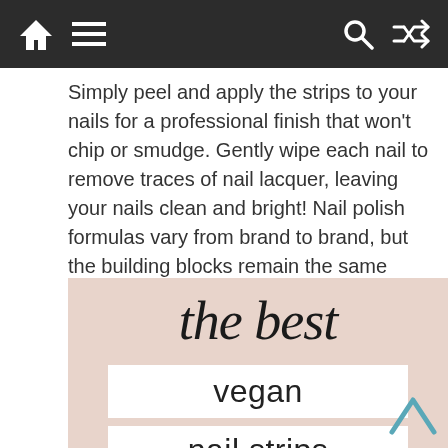Navigation bar with home, menu, search, and shuffle icons
Simply peel and apply the strips to your nails for a professional finish that won't chip or smudge. Gently wipe each nail to remove traces of nail lacquer, leaving your nails clean and bright! Nail polish formulas vary from brand to brand, but the building blocks remain the same (cellulose, plasticizer, coloring, etc.).
[Figure (infographic): Pink/blush background infographic with script text 'the best' and white boxes containing 'vegan' and 'nail strips' in sans-serif type]